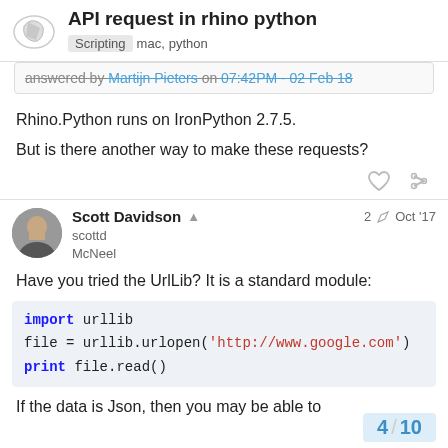API request in rhino python — Scripting mac, python
answered by Martijn Pieters on 07:42PM - 02 Feb 18
Rhino.Python runs on IronPython 2.7.5.
But is there another way to make these requests?
Scott Davidson  scottd  McNeel  2  Oct '17
Have you tried the UrlLib? It is a standard module:
import urllib
file = urllib.urlopen('http://www.google.com')
print file.read()
If the data is Json, then you may be able to
4 / 10